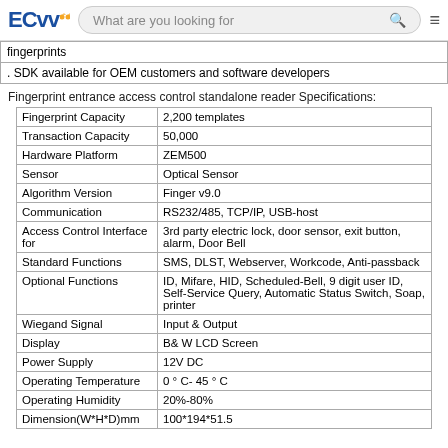ECVV | What are you looking for
| fingerprints |
| . SDK available for OEM customers and software developers |
Fingerprint entrance access control standalone reader Specifications:
| Fingerprint Capacity | 2,200 templates |
| Transaction Capacity | 50,000 |
| Hardware Platform | ZEM500 |
| Sensor | Optical Sensor |
| Algorithm Version | Finger v9.0 |
| Communication | RS232/485, TCP/IP, USB-host |
| Access Control Interface for | 3rd party electric lock, door sensor, exit button, alarm, Door Bell |
| Standard Functions | SMS, DLST, Webserver, Workcode, Anti-passback |
| Optional Functions | ID, Mifare, HID, Scheduled-Bell, 9 digit user ID, Self-Service Query, Automatic Status Switch, Soap, printer |
| Wiegand Signal | Input & Output |
| Display | B& W LCD Screen |
| Power Supply | 12V DC |
| Operating Temperature | 0 ° C- 45 ° C |
| Operating Humidity | 20%-80% |
| Dimension(W*H*D)mm | 100*194*51.5 |